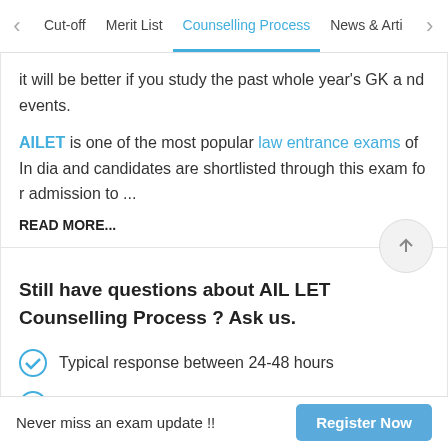Cut-off | Merit List | Counselling Process | News & Arti
it will be better if you study the past whole year's GK and events.
AILET is one of the most popular law entrance exams of India and candidates are shortlisted through this exam for admission to ...
READ MORE...
Still have questions about AIL LET Counselling Process ? Ask us.
Typical response between 24-48 hours
Get personalized response
Free of Cost
Never miss an exam update !! Register Now